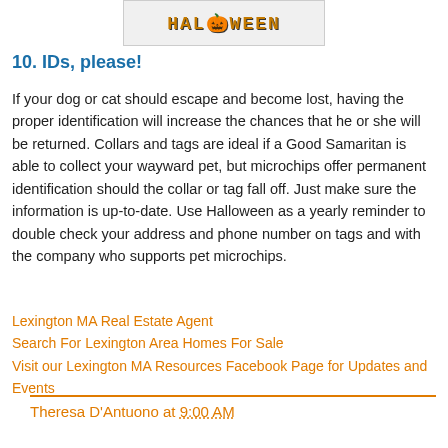[Figure (illustration): Halloween text logo image with decorative pixel-style lettering on a light background]
10. IDs, please!
If your dog or cat should escape and become lost, having the proper identification will increase the chances that he or she will be returned. Collars and tags are ideal if a Good Samaritan is able to collect your wayward pet, but microchips offer permanent identification should the collar or tag fall off. Just make sure the information is up-to-date. Use Halloween as a yearly reminder to double check your address and phone number on tags and with the company who supports pet microchips.
Lexington MA Real Estate Agent
Search For Lexington Area Homes For Sale
Visit our Lexington MA Resources Facebook Page for Updates and Events
Theresa D'Antuono at 9:00 AM